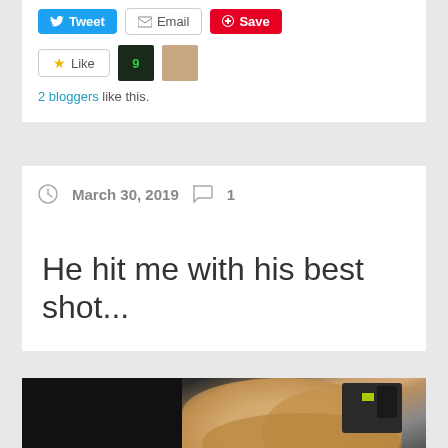Tweet  Email  Save
Like  2 bloggers like this.
March 30, 2019  1
He hit me with his best shot...
[Figure (photo): A person with short blonde hair viewed from behind/above, in a dark setting with some equipment visible at right]